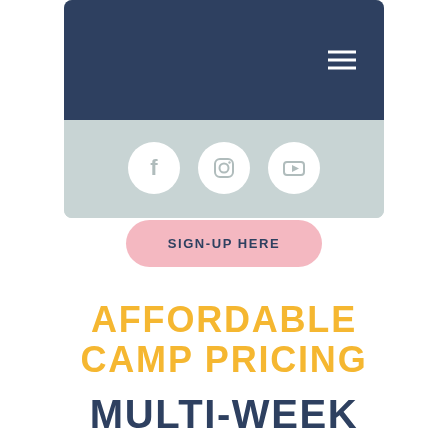[Figure (screenshot): Website screenshot showing dark navy navigation bar with hamburger menu icon, and light gray social media section with Facebook, Instagram, and YouTube circular icons]
SIGN-UP HERE
AFFORDABLE CAMP PRICING
MULTI-WEEK